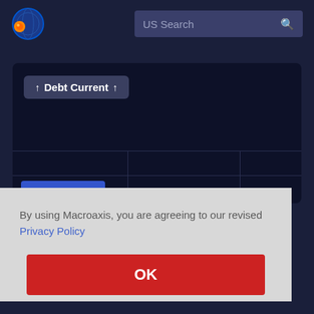[Figure (screenshot): Macroaxis website header with logo and US Search bar on dark navy background]
↑ Debt Current ↑
By using Macroaxis, you are agreeing to our revised Privacy Policy
OK